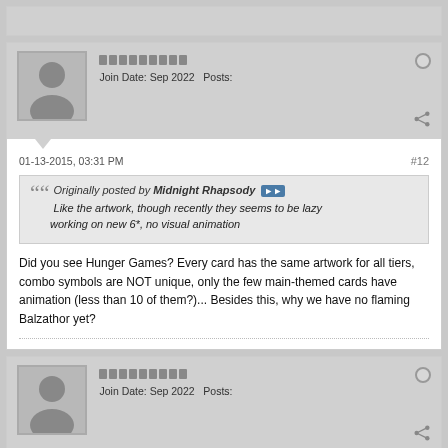[Figure (other): Partial top card cut off at page top]
Join Date: Sep 2022   Posts:
01-13-2015, 03:31 PM
#12
Originally posted by Midnight Rhapsody
Like the artwork, though recently they seems to be lazy working on new 6*, no visual animation
Did you see Hunger Games? Every card has the same artwork for all tiers, combo symbols are NOT unique, only the few main-themed cards have animation (less than 10 of them?)... Besides this, why we have no flaming Balzathor yet?
Join Date: Sep 2022   Posts: